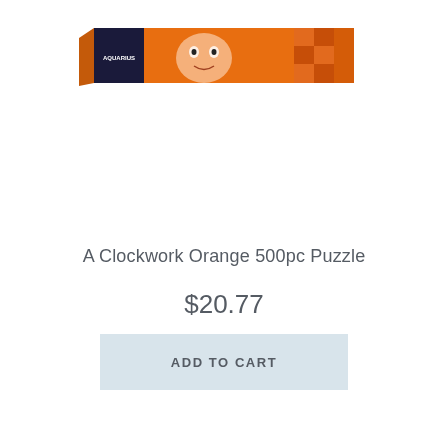[Figure (photo): Product image of A Clockwork Orange 500pc Puzzle box, showing an orange rectangular puzzle box with an image of a face and orange/dark imagery on it, positioned at the top center of the page.]
A Clockwork Orange 500pc Puzzle
$20.77
ADD TO CART